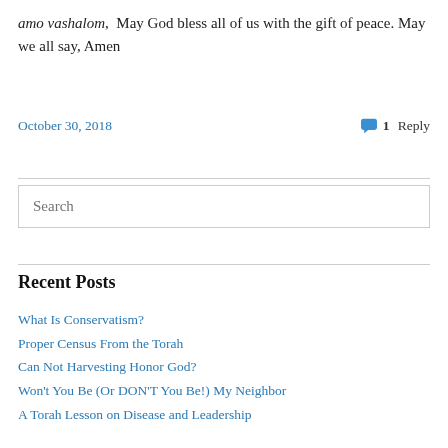amo vashalom,  May God bless all of us with the gift of peace. May we all say, Amen
October 30, 2018
1 Reply
Search
Recent Posts
What Is Conservatism?
Proper Census From the Torah
Can Not Harvesting Honor God?
Won't You Be (Or DON'T You Be!) My Neighbor
A Torah Lesson on Disease and Leadership